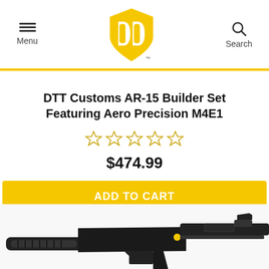Menu | DTT Customs Logo | Search
DTT Customs AR-15 Builder Set Featuring Aero Precision M4E1
$474.99
ADD TO CART
[Figure (photo): Partial photo of an AR-15 builder set showing lower receiver and stock components]